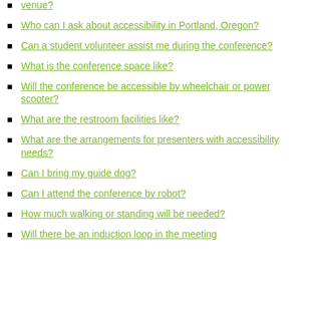venue?
Who can I ask about accessibility in Portland, Oregon?
Can a student volunteer assist me during the conference?
What is the conference space like?
Will the conference be accessible by wheelchair or power scooter?
What are the restroom facilities like?
What are the arrangements for presenters with accessibility needs?
Can I bring my guide dog?
Can I attend the conference by robot?
How much walking or standing will be needed?
Will there be an induction loop in the meeting